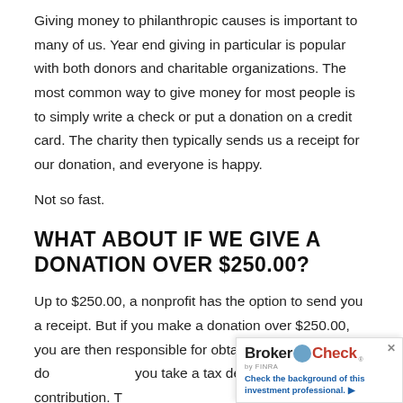Giving money to philanthropic causes is important to many of us. Year end giving in particular is popular with both donors and charitable organizations. The most common way to give money for most people is to simply write a check or put a donation on a credit card. The charity then typically sends us a receipt for our donation, and everyone is happy.
Not so fast.
WHAT ABOUT IF WE GIVE A DONATION OVER $250.00?
Up to $250.00, a nonprofit has the option to send you a receipt. But if you make a donation over $250.00, you are then responsible for obtaining proof of that do… you take a tax deduction for the contribution. T…